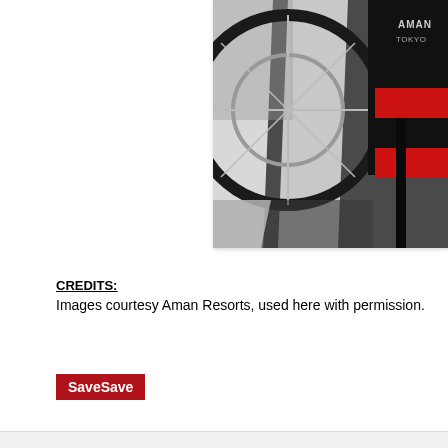[Figure (photo): Close-up photo of a traditional Japanese rickshaw (jinrikisha) showing a large bicycle wheel on a crosswalk/zebra crossing. A black rickshaw body with 'AMAN TOKYO' text and red seat cushions is visible on the right side of the frame.]
CREDITS:
Images courtesy Aman Resorts, used here with permission.
SaveSave